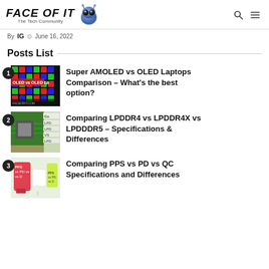FACE OF IT – The Tech Community
By IG  June 16, 2022
Posts List
1. Super AMOLED vs OLED Laptops Comparison – What's the best option?
2. Comparing LPDDR4 vs LPDDR4X vs LPDDDR5 – Specifications & Differences
3. Comparing PPS vs PD vs QC Specifications and Differences